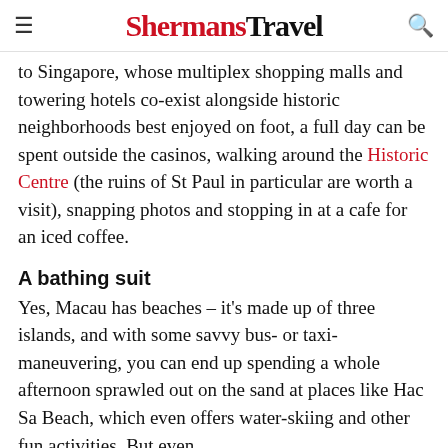ShermansTravel
to Singapore, whose multiplex shopping malls and towering hotels co-exist alongside historic neighborhoods best enjoyed on foot, a full day can be spent outside the casinos, walking around the Historic Centre (the ruins of St Paul in particular are worth a visit), snapping photos and stopping in at a cafe for an iced coffee.
A bathing suit
Yes, Macau has beaches – it's made up of three islands, and with some savvy bus- or taxi-maneuvering, you can end up spending a whole afternoon sprawled out on the sand at places like Hac Sa Beach, which even offers water-skiing and other fun activities. But even